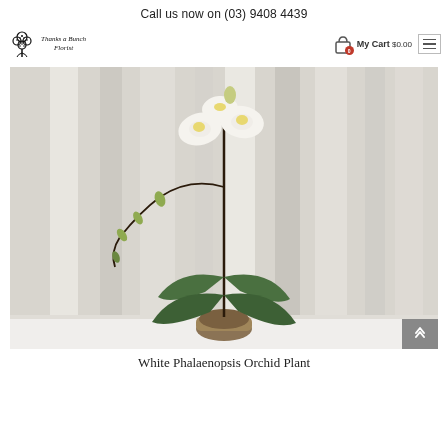Call us now on (03) 9408 4439
[Figure (logo): Thanks a Bunch Florist logo with decorative floral icon and italic script text]
My Cart $0.00
[Figure (photo): White Phalaenopsis orchid plant in a clear glass pot with green leaves and white flowers on a thin black stake, photographed against a light grey and white striped background]
White Phalaenopsis Orchid Plant